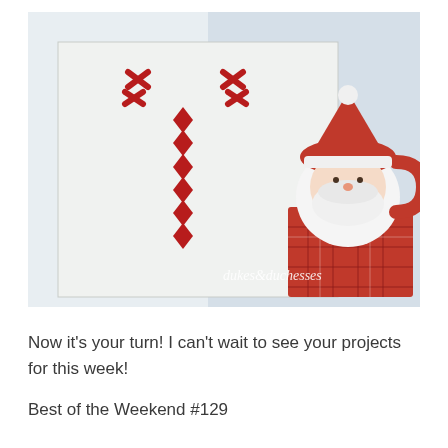[Figure (photo): A Christmas-themed photo showing a white wooden board with a red cross-stitch reindeer design, next to a red and white Santa Claus ceramic mug sitting on a red plaid gift box. The watermark 'dukes&duchesses' appears in white text in the lower right of the image.]
Now it's your turn! I can't wait to see your projects for this week!
Best of the Weekend #129